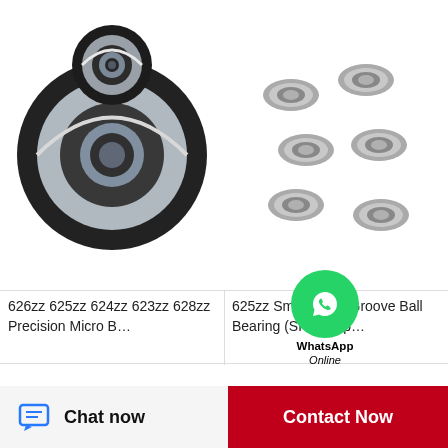[Figure (photo): Close-up of multiple ball bearings (626zz 625zz 624zz 623zz 628zz series) stacked together, dark metallic with rubber seals, top-left product image]
[Figure (photo): Small deep groove ball bearings (625zz series) scattered loosely, grey metallic, top-right product image]
626zz 625zz 624zz 623zz 628zz Precision Micro B…
625zz Small Deep Groove Ball Bearing (SKF Zv3p…
[Figure (photo): Close-up of large ball bearing with white ceramic balls visible, bottom-left product image]
[Figure (photo): Multiple dark ball bearings assembled together, bottom-right product image]
[Figure (photo): WhatsApp contact button overlay with green circle icon]
Chat now
Contact Now